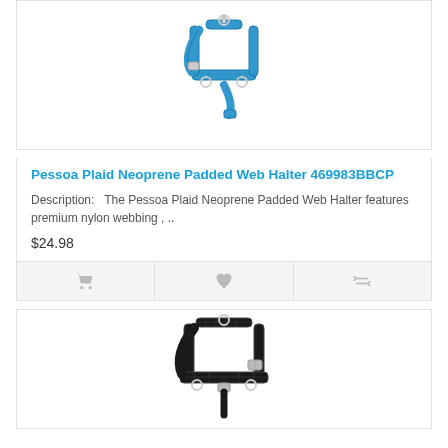[Figure (photo): Blue Pessoa Plaid Neoprene Padded Web Halter product photo on white background]
Pessoa Plaid Neoprene Padded Web Halter 469983BBCP
Description:   The Pessoa Plaid Neoprene Padded Web Halter features premium nylon webbing , ..
$24.98
[Figure (photo): Black Pessoa Plaid Neoprene Padded Web Halter product photo on white background]